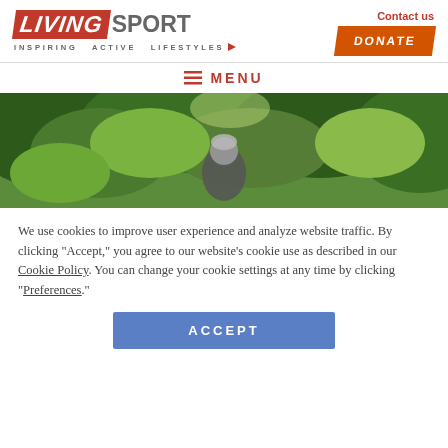[Figure (logo): LivingSport logo with orange/red italic LIVING block and grey SPORT text, tagline INSPIRING ACTIVE LIFESTYLES with arrow]
Contact us
DONATE
≡ MENU
[Figure (photo): Outdoor photo of a person with grey hair in front of green leafy trees/hedges]
We use cookies to improve user experience and analyze website traffic. By clicking "Accept," you agree to our website's cookie use as described in our Cookie Policy. You can change your cookie settings at any time by clicking "Preferences."
ACCEPT